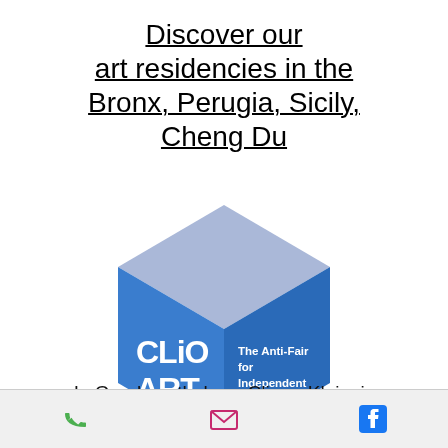Discover our art residencies in the Bronx, Perugia, Sicily, Cheng Du
[Figure (logo): CLiO ART FAIR logo — a 3D isometric hexagonal cube shape in shades of blue and light blue/lavender. The left-front face reads 'CLiO ART FAIR' in bold white text. The right face reads 'The Anti-Fair for Independent Artists' in white text. The top face is pale lavender/periwinkle.]
In Greek mythology, Clio or Kleio, is
Phone | Email | Facebook